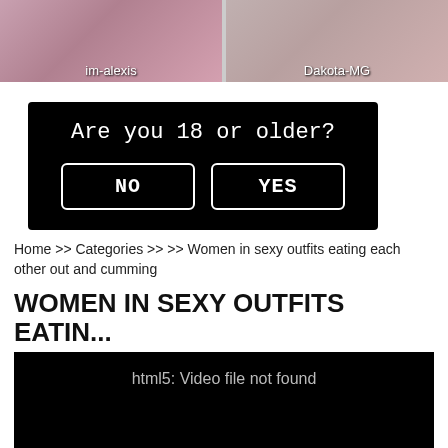[Figure (photo): Two thumbnail images side by side. Left thumbnail shows a person with label 'im-alexis'. Right thumbnail shows a person with label 'Dakota-MG'.]
[Figure (screenshot): Age verification prompt on black background reading 'Are you 18 or older?' with two buttons: NO and YES]
Home >> Categories >> >> Women in sexy outfits eating each other out and cumming
WOMEN IN SEXY OUTFITS EATIN...
[Figure (screenshot): Black video player area showing error message: 'html5: Video file not found']